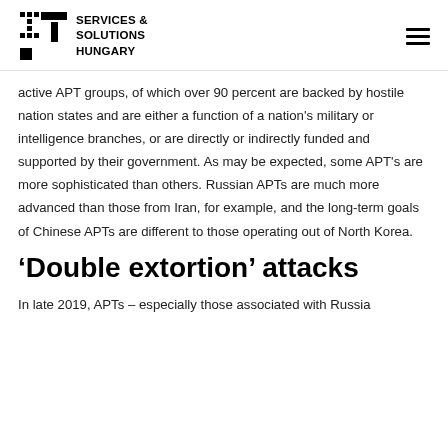IT Services & Solutions Hungary
active APT groups, of which over 90 percent are backed by hostile nation states and are either a function of a nation's military or intelligence branches, or are directly or indirectly funded and supported by their government. As may be expected, some APT's are more sophisticated than others. Russian APTs are much more advanced than those from Iran, for example, and the long-term goals of Chinese APTs are different to those operating out of North Korea.
‘Double extortion’ attacks
In late 2019, APTs – especially those associated with Russia